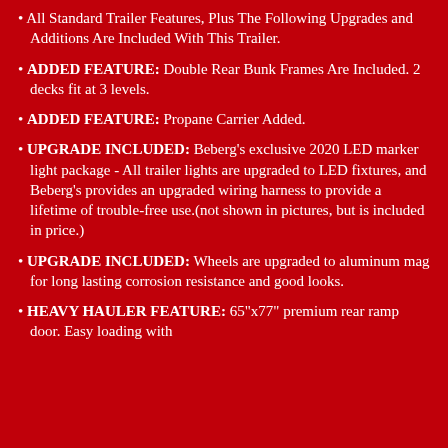• All Standard Trailer Features, Plus The Following Upgrades and Additions Are Included With This Trailer.
• ADDED FEATURE: Double Rear Bunk Frames Are Included. 2 decks fit at 3 levels.
• ADDED FEATURE: Propane Carrier Added.
• UPGRADE INCLUDED: Beberg's exclusive 2020 LED marker light package - All trailer lights are upgraded to LED fixtures, and Beberg's provides an upgraded wiring harness to provide a lifetime of trouble-free use.(not shown in pictures, but is included in price.)
• UPGRADE INCLUDED: Wheels are upgraded to aluminum mag for long lasting corrosion resistance and good looks.
• HEAVY HAULER FEATURE: 65"x77" premium rear ramp door. Easy loading with